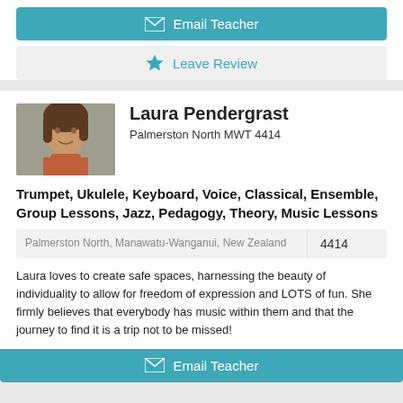[Figure (other): Email Teacher button with envelope icon, teal background]
[Figure (other): Leave Review button with star icon, light gray background]
[Figure (photo): Profile photo of Laura Pendergrast, a woman smiling]
Laura Pendergrast
Palmerston North MWT 4414
Trumpet, Ukulele, Keyboard, Voice, Classical, Ensemble, Group Lessons, Jazz, Pedagogy, Theory, Music Lessons
| Location | Zip |
| --- | --- |
| Palmerston North, Manawatu-Wanganui, New Zealand | 4414 |
Laura loves to create safe spaces, harnessing the beauty of individuality to allow for freedom of expression and LOTS of fun. She firmly believes that everybody has music within them and that the journey to find it is a trip not to be missed!
[Figure (other): Email Teacher button with envelope icon, teal background]